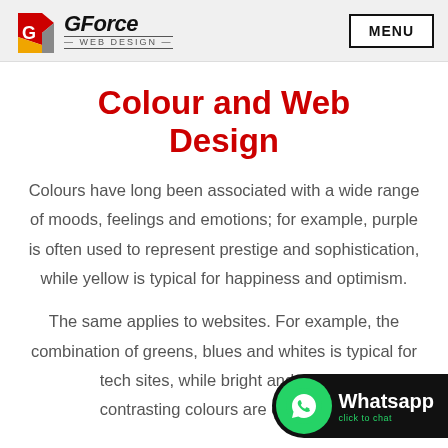GForce Web Design | MENU
Colour and Web Design
Colours have long been associated with a wide range of moods, feelings and emotions; for example, purple is often used to represent prestige and sophistication, while yellow is typical for happiness and optimism.
The same applies to websites. For example, the combination of greens, blues and whites is typical for tech sites, while bright and vibrant contrasting colours are often used
[Figure (logo): Whatsapp click to chat badge]